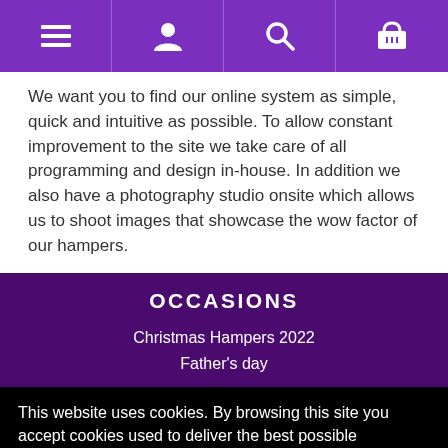[Navigation bar with menu, account, search, and basket icons]
We want you to find our online system as simple, quick and intuitive as possible. To allow constant improvement to the site we take care of all programming and design in-house. In addition we also have a photography studio onsite which allows us to shoot images that showcase the wow factor of our hampers.
OCCASIONS
Christmas Hampers 2022
Father's day
This website uses cookies. By browsing this site you accept cookies used to deliver the best possible experience. Privacy Policy
Got it!